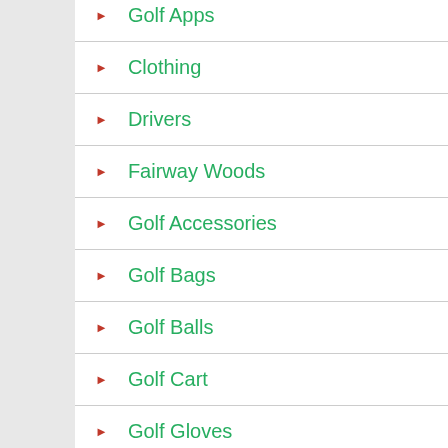Golf Apps
Clothing
Drivers
Fairway Woods
Golf Accessories
Golf Bags
Golf Balls
Golf Cart
Golf Gloves
Golf GPS Rangefinders
Golf Practice Aids